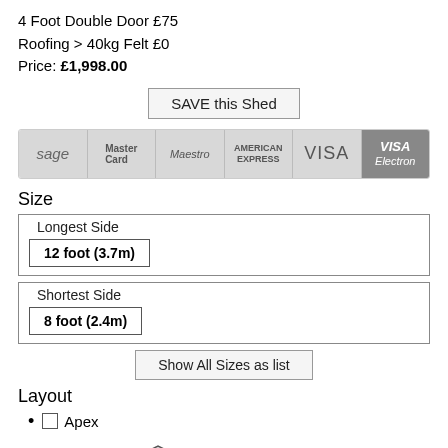4 Foot Double Door £75
Roofing > 40kg Felt £0
Price: £1,998.00
SAVE this Shed
[Figure (other): Payment method logos bar: Sage, MasterCard, Maestro, American Express, VISA, VISA Electron]
Size
Longest Side
12 foot (3.7m)
Shortest Side
8 foot (2.4m)
Show All Sizes as list
Layout
Apex
[Figure (illustration): Line drawing illustration of an apex roof garden shed with horizontal cladding, a window on the left side, and double doors on the right.]